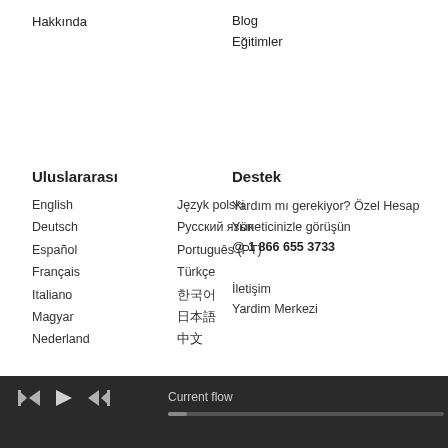Hakkında
Blog
Eğitimler
Uluslararası
English
Język polski
Deutsch
Русский язык
Español
Português (PT)
Français
Türkçe
Italiano
한국어
Magyar
日本語
Nederland
中文
Destek
Yardım mı gerekiyor? Özel Hesap
Yöneticinizle görüşün
@ 1 866 655 3733

İletişim
Yardim Merkezi
Current flow